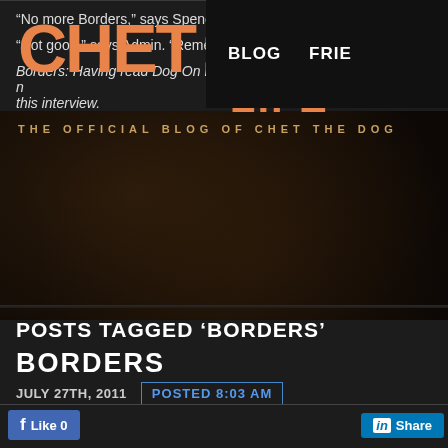CHET: A DOG'S LIFE — THE OFFICIAL BLOG OF CHET THE DOG
BLOG  FRIE
POSTS TAGGED 'BORDERS'
BORDERS
JULY 27TH, 2011   POSTED 8:03 AM
Like 0   Share
“No more Borders,” says Spence.
“Not good,” says Admin. “Remember that Q and A they did with Ber
Borders: Having read Dog On It, I have the feeling we may not get n… this interview.